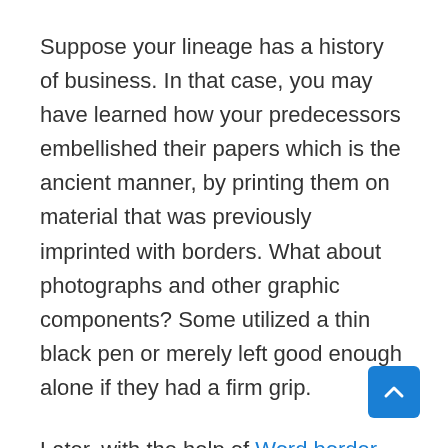Suppose your lineage has a history of business. In that case, you may have learned how your predecessors embellished their papers which is the ancient manner, by printing them on material that was previously imprinted with borders. What about photographs and other graphic components? Some utilized a thin black pen or merely left good enough alone if they had a firm grip.
Later, with the help of Word border designs and, notably, customized borders, Microsoft Word launched a phenomenon known as desktop